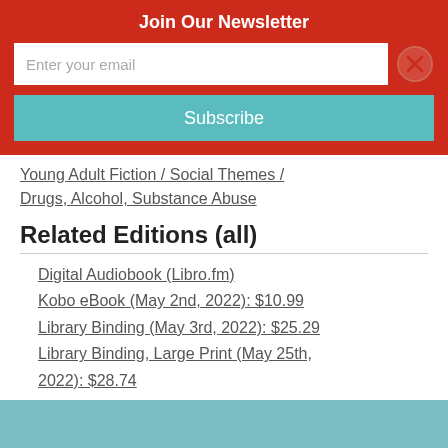Join Our Newsletter
Enter your email
Subscribe
Young Adult Fiction / Social Themes / Drugs, Alcohol, Substance Abuse
Related Editions (all)
Digital Audiobook (Libro.fm)
Kobo eBook (May 2nd, 2022): $10.99
Library Binding (May 3rd, 2022): $25.29
Library Binding, Large Print (May 25th, 2022): $28.74